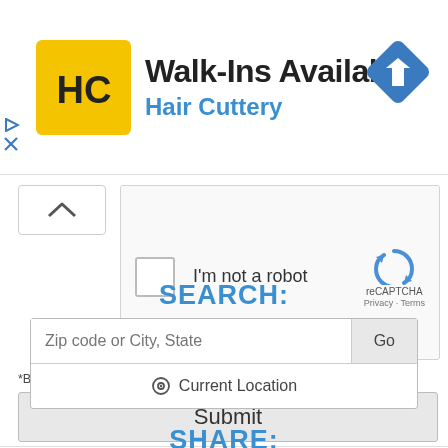[Figure (screenshot): Hair Cuttery advertisement banner with yellow HC logo, 'Walk-Ins Available' text, 'Hair Cuttery' in blue, and a blue diamond direction icon. Small play and close icons at left.]
[Figure (screenshot): reCAPTCHA widget with 'I'm not a robot' checkbox and reCAPTCHA logo, Privacy and Terms links. Above it is a collapse/caret-up button.]
*By clicking Submit, you agree to our Privacy Policy & Terms of Use.
[Figure (screenshot): Submit button, gray background, large text 'Submit']
SEARCH:
[Figure (screenshot): Search input box with placeholder 'Zip code or City, State' and a 'Go' button, below which is a 'Current Location' option with target/location icon.]
SHARE: